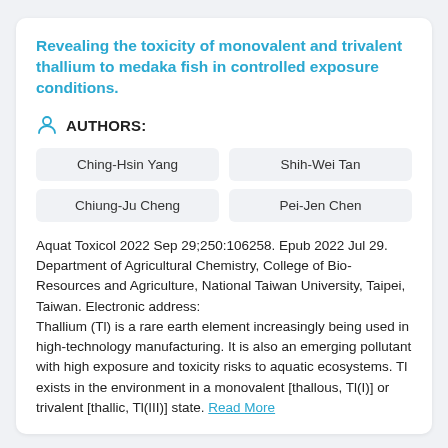Revealing the toxicity of monovalent and trivalent thallium to medaka fish in controlled exposure conditions.
AUTHORS:
Ching-Hsin Yang
Shih-Wei Tan
Chiung-Ju Cheng
Pei-Jen Chen
Aquat Toxicol 2022 Sep 29;250:106258. Epub 2022 Jul 29.
Department of Agricultural Chemistry, College of Bio-Resources and Agriculture, National Taiwan University, Taipei, Taiwan. Electronic address:
Thallium (Tl) is a rare earth element increasingly being used in high-technology manufacturing. It is also an emerging pollutant with high exposure and toxicity risks to aquatic ecosystems. Tl exists in the environment in a monovalent [thallous, Tl(I)] or trivalent [thallic, Tl(III)] state. Read More